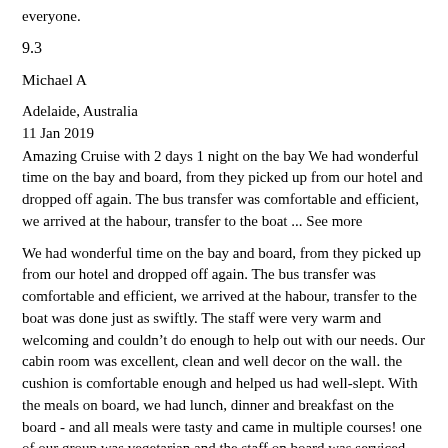everyone.
9.3
Michael A
Adelaide, Australia
11 Jan 2019
Amazing Cruise with 2 days 1 night on the bay We had wonderful time on the bay and board, from they picked up from our hotel and dropped off again. The bus transfer was comfortable and efficient, we arrived at the habour, transfer to the boat ... See more
We had wonderful time on the bay and board, from they picked up from our hotel and dropped off again. The bus transfer was comfortable and efficient, we arrived at the habour, transfer to the boat was done just as swiftly. The staff were very warm and welcoming and couldn't do enough to help out with our needs. Our cabin room was excellent, clean and well decor on the wall. the cushion is comfortable enough and helped us had well-slept. With the meals on board, we had lunch, dinner and breakfast on the board - and all meals were tasty and came in multiple courses! one of our group was vegetarian and the staff on board was serviced was do it very good. We were very happy with good weather and clearly one, boat step by step moved and the islands in the bay seemed to be never ending in my eyes. We went kayaking in the